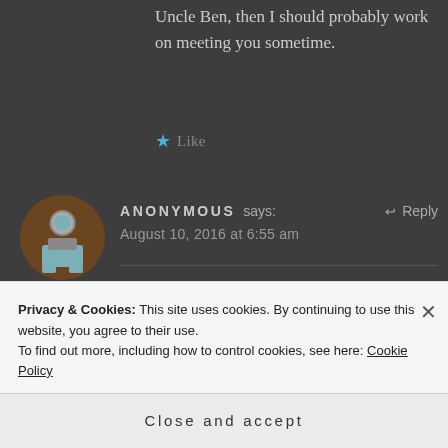Uncle Ben, then I should probably work on meeting you sometime.
★ Like
[Figure (illustration): Anonymous user avatar: brown circle with a stylized person/robot icon in gray and blue tones]
ANONYMOUS says:  ↩ Reply
August 10, 2016 at 6:55 am
Hopefully, will be glad 🙂 , the best...
Privacy & Cookies: This site uses cookies. By continuing to use this website, you agree to their use.
To find out more, including how to control cookies, see here: Cookie Policy
Close and accept